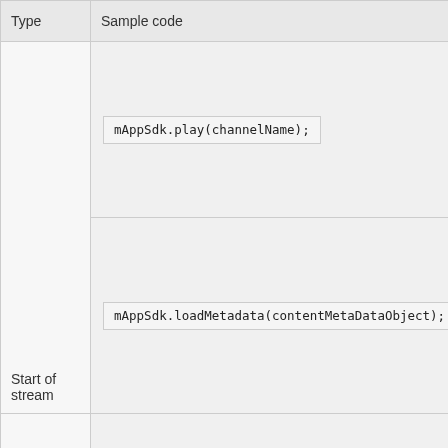| Type | Sample code |
| --- | --- |
| Start of stream | mAppSdk.play(channelName);
mAppSdk.loadMetadata(contentMetaDataObject); |
| Preroll | mAppSdk.loadMetadata(prerollMetadataObject); |